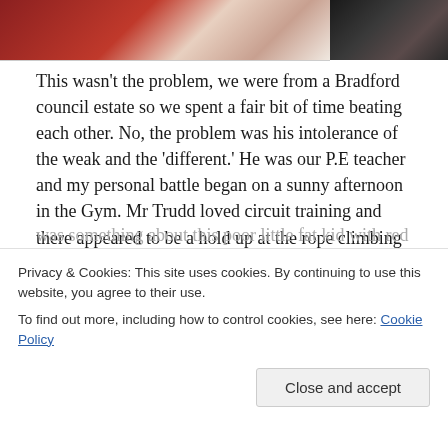[Figure (photo): Two cropped photos side by side: left shows the sole/edge of a red sneaker shoe, right shows a dark monochrome image of a person]
This wasn't the problem, we were from a Bradford council estate so we spent a fair bit of time beating each other. No, the problem was his intolerance of the weak and the 'different.' He was our P.E teacher and my personal battle began on a sunny afternoon in the Gym. Mr Trudd loved circuit training and there appeared to be a hold up at the rope climbing exercise. I took a wander over and there was George, he was a rotund kid who obviously had some form of affliction, I mean this wasn't overeating he was
was something about this poor little fat kid with red face,
Privacy & Cookies: This site uses cookies. By continuing to use this website, you agree to their use.
To find out more, including how to control cookies, see here: Cookie Policy